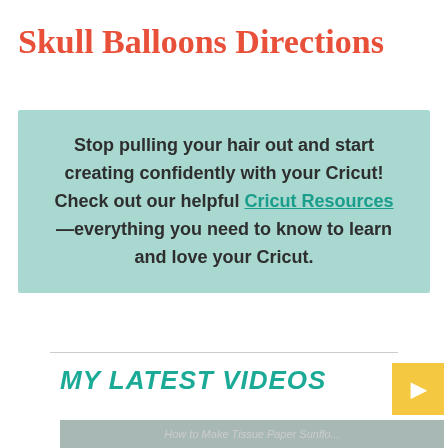Skull Balloons Directions
Stop pulling your hair out and start creating confidently with your Cricut! Check out our helpful Cricut Resources—everything you need to know to learn and love your Cricut.
MY LATEST VIDEOS
[Figure (screenshot): Video thumbnail showing partial text 'How to Make Tissue Paper Sunflo...']